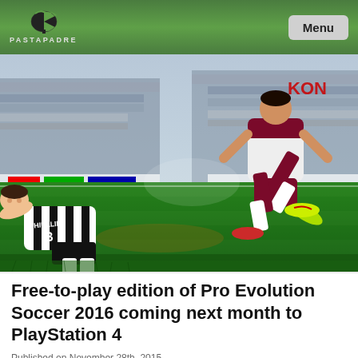PASTAPADRE | Menu
[Figure (photo): Screenshot from Pro Evolution Soccer 2016 video game showing two players on a soccer pitch. A player wearing a black and white striped Juventus jersey with 'CHIELLINI' on the back is sliding on the grass, while another player in a white and dark red kit is jumping overhead. Stadium crowd visible in the background. KONAMI logo partially visible in top right corner.]
Free-to-play edition of Pro Evolution Soccer 2016 coming next month to PlayStation 4
Published on November 28th, 2015